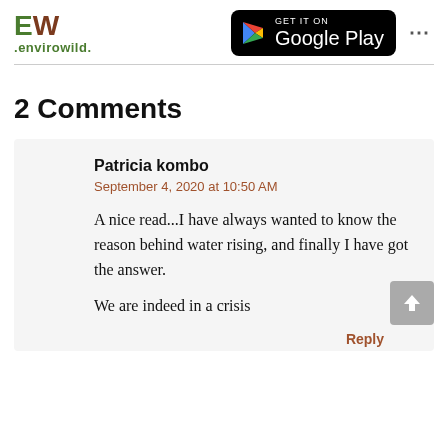[Figure (logo): EW envirowild logo with green E and brown W letters, green dot text .envirowild.]
[Figure (logo): GET IT ON Google Play badge on black rounded rectangle background]
2 Comments
Patricia kombo
September 4, 2020 at 10:50 AM
A nice read...I have always wanted to know the reason behind water rising, and finally I have got the answer.
We are indeed in a crisis